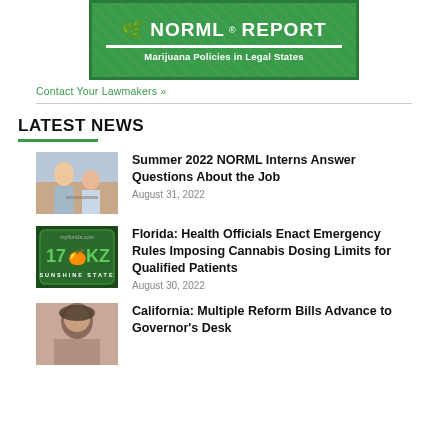[Figure (logo): NORML Report - Marijuana Policies in Legal States banner/logo on green background]
Contact Your Lawmakers »
LATEST NEWS
[Figure (photo): Two people in an office setting, appears to be internship/work context]
Summer 2022 NORML Interns Answer Questions About the Job
August 31, 2022
[Figure (photo): Florida license plate reading 17 KZ, Sunshine State, myflorida.com]
Florida: Health Officials Enact Emergency Rules Imposing Cannabis Dosing Limits for Qualified Patients
August 30, 2022
[Figure (photo): Person with curly hair, partial view]
California: Multiple Reform Bills Advance to Governor's Desk